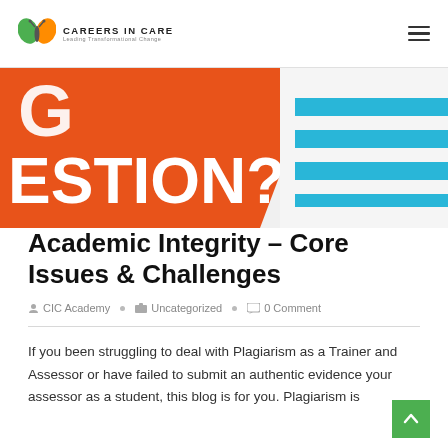CAREERS IN CARE — Leading Transformational Change
[Figure (illustration): Partial view of a banner graphic with orange background showing text 'ESTION?' in white bold letters, a letter 'G' visible at top, and blue horizontal stripes on the right side.]
Academic Integrity – Core Issues & Challenges
CIC Academy • Uncategorized • 0 Comment
If you been struggling to deal with Plagiarism as a Trainer and Assessor or have failed to submit an authentic evidence your assessor as a student, this blog is for you. Plagiarism is